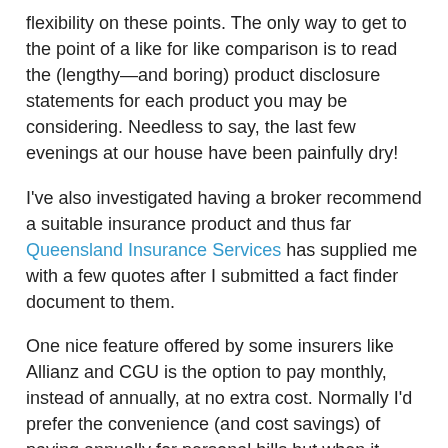flexibility on these points. The only way to get to the point of a like for like comparison is to read the (lengthy—and boring) product disclosure statements for each product you may be considering. Needless to say, the last few evenings at our house have been painfully dry!
I've also investigated having a broker recommend a suitable insurance product and thus far Queensland Insurance Services has supplied me with a few quotes after I submitted a fact finder document to them.
One nice feature offered by some insurers like Allianz and CGU is the option to pay monthly, instead of annually, at no extra cost. Normally I'd prefer the convenience (and cost savings) of paying annually for personal bills but when it comes to an investment property I'm thinking more about cashflow—especially in these early days when the property will be negatively geared.
In terms of paying for running costs like these, we've got a few options. The easiest would be to have the property manager deduct the payment amount from rents collected and then make the payment on our behalf. I haven't got this